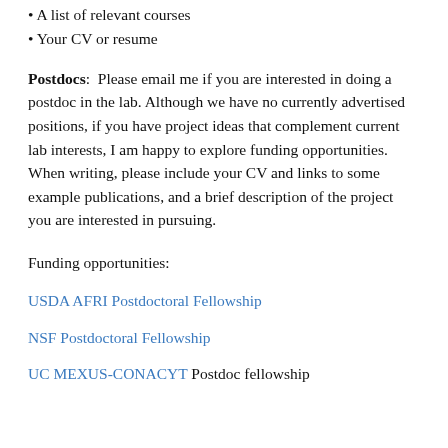• A list of relevant courses
• Your CV or resume
Postdocs:  Please email me if you are interested in doing a postdoc in the lab. Although we have no currently advertised positions, if you have project ideas that complement current lab interests, I am happy to explore funding opportunities. When writing, please include your CV and links to some example publications, and a brief description of the project you are interested in pursuing.
Funding opportunities:
USDA AFRI Postdoctoral Fellowship
NSF Postdoctoral Fellowship
UC MEXUS-CONACYT Postdoc fellowship